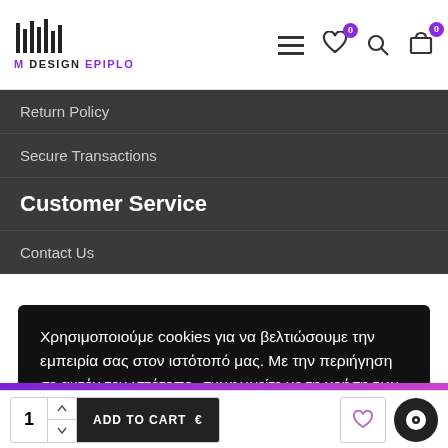[Figure (logo): M Design Epiplo logo with barcode-style vertical bars above text]
[Figure (infographic): Navigation icons: hamburger menu, heart (wishlist with badge 0), search, cart (with badge 0)]
Return Policy
Secure Transactions
Customer Service
Contact Us
Χρησιμοποιούμε cookies για να βελτιώσουμε την εμπειρία σας στον ιστότοπό μας. Με την περιήγηση σε αυτόν τον ιστότοπο, συμφωνείτε με τη χρήση των cookies από εμάς.  Περισσότερα εδώ
[Figure (infographic): Bottom bar with quantity selector (1), ADD TO CART € button, heart icon, and chat bubble icon]